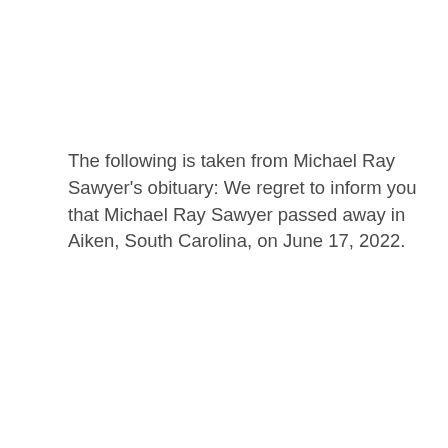The following is taken from Michael Ray Sawyer's obituary: We regret to inform you that Michael Ray Sawyer passed away in Aiken, South Carolina, on June 17, 2022.